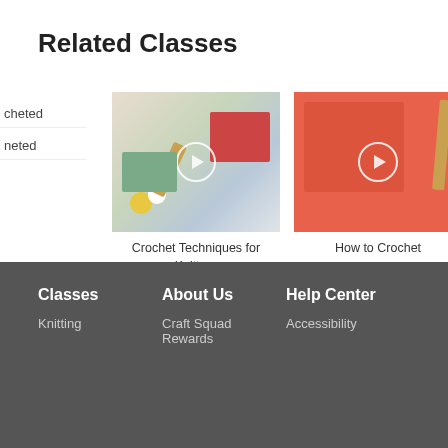Related Classes
cheted
neted
[Figure (photo): Knitting and crochet supplies including yarn balls and fabric swatches with play button overlay]
Crochet Techniques for Knitters
Cal Patch
[Figure (photo): Coral/red crochet fabric swatch with a crochet hook and play button overlay]
How to Crochet
Carla Scott
[Figure (photo): Partial view of blue yarn/crochet work]
How to
Classes | About Us | Help Center | Knitting | Craft Squad Rewards | Accessibility